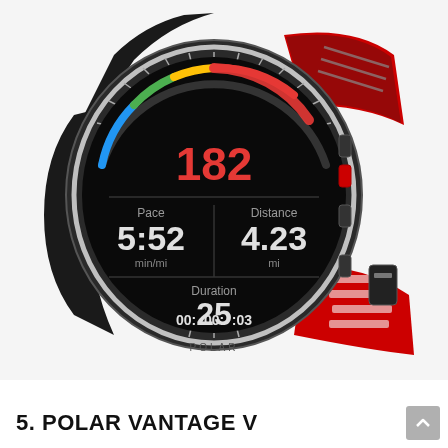[Figure (photo): Polar Vantage V GPS running watch in black and red colorway, displayed at an angle showing the watch face with heart rate 182, Pace 5:52 min/mi, Distance 4.23 mi, Duration 00:25:03, with a red and black silicone band]
5. POLAR VANTAGE V